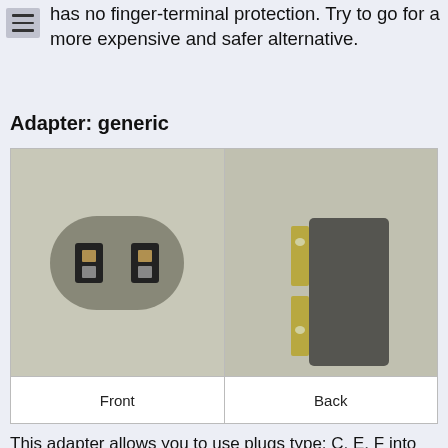has no finger-terminal protection. Try to go for a more expensive and safer alternative.
Adapter: generic
[Figure (photo): Photo of a generic travel plug adapter showing front (flat rounded-rectangle body with two rectangular socket slots revealing metal contacts inside) and back (two flat parallel prongs extending from a dark plastic body) views.]
Front   Back
This adapter allows you to use plugs type: C, E, F into outlets type: A, B.
Simple, small and cheap. You can buy half a dozen of them for almost no money and they